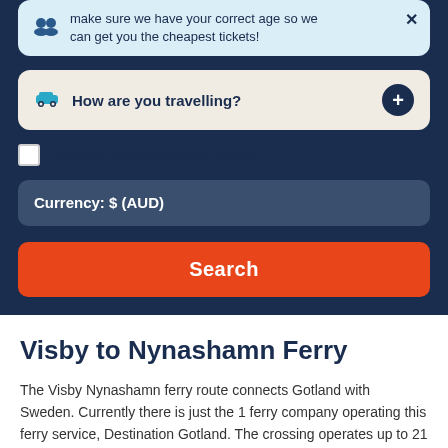make sure we have your correct age so we can get you the cheapest tickets!
How are you travelling?
Different outbound/return details?
Currency: $ (AUD)
Search
Visby to Nynashamn Ferry
The Visby Nynashamn ferry route connects Gotland with Sweden. Currently there is just the 1 ferry company operating this ferry service, Destination Gotland. The crossing operates up to 21 times each week with sailing durations from around 3 hours 15 minutes.